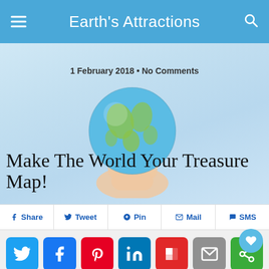Earth's Attractions
[Figure (photo): Hand holding a globe, hero image with light blue/sky background]
1 February 2018 • No Comments
Make The World Your Treasure Map!
Share  Tweet  Pin  Mail  SMS
[Figure (infographic): Social media icon buttons: Twitter (blue), Facebook (blue), Pinterest (red), LinkedIn (blue), Flipboard (red), Mail (gray), More (green)]
Treasure maps may well be a thing of fairy tales and bedtime stories. Finding tombs full of gold and precious jewels, or striking